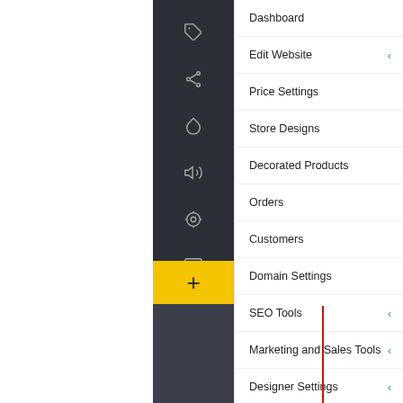[Figure (screenshot): Web application sidebar navigation menu showing icons on dark background with a yellow plus button, and an expanded menu panel listing: Dashboard, Edit Website, Price Settings, Store Designs, Decorated Products, Orders, Customers, Domain Settings, SEO Tools, Marketing and Sales Tools, Designer Settings, Store Configuration, Commissions, Api Settings, Administration (expanded with submenu: Ownership, Group Settings, Contract Price Level, Clone Store Settings, Store Commission Settings, Permissions, Production Options). A red vertical line annotation is overlaid on the expanded submenu area.]